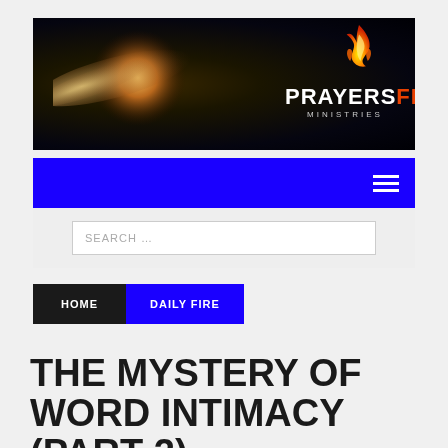[Figure (logo): PrayersFire Ministries banner with dark starfield background, golden comet/planet glow on left, and flame logo with PRAYERS FIRE MINISTRIES text on right]
Navigation bar with hamburger menu icon
SEARCH …
HOME
DAILY FIRE
THE MYSTERY OF WORD INTIMACY (PART 2)